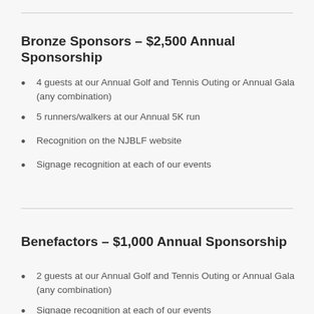Bronze Sponsors – $2,500 Annual Sponsorship
4 guests at our Annual Golf and Tennis Outing or Annual Gala (any combination)
5 runners/walkers at our Annual 5K run
Recognition on the NJBLF website
Signage recognition at each of our events
Benefactors – $1,000 Annual Sponsorship
2 guests at our Annual Golf and Tennis Outing or Annual Gala (any combination)
Signage recognition at each of our events